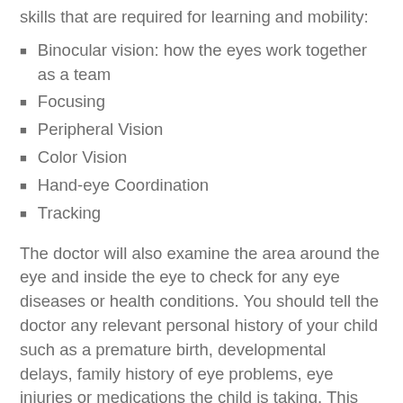skills that are required for learning and mobility:
Binocular vision: how the eyes work together as a team
Focusing
Peripheral Vision
Color Vision
Hand-eye Coordination
Tracking
The doctor will also examine the area around the eye and inside the eye to check for any eye diseases or health conditions. You should tell the doctor any relevant personal history of your child such as a premature birth, developmental delays, family history of eye problems, eye injuries or medications the child is taking. This would also be the time to address any concerns or issues your child has that might indicate a